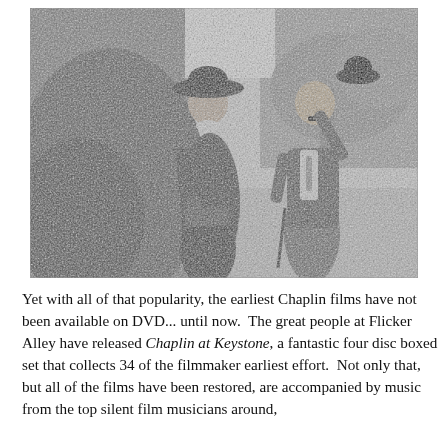[Figure (photo): Black and white photograph of two people standing outdoors in a garden or park setting. On the left is a woman wearing a wide-brimmed hat and a long dark dress, holding something in her hands. On the right is a man (Charlie Chaplin) in his iconic tramp costume with a bowler hat held up in one hand, wearing baggy trousers and a jacket. Lush foliage and trees are visible in the background.]
Yet with all of that popularity, the earliest Chaplin films have not been available on DVD... until now.  The great people at Flicker Alley have released Chaplin at Keystone, a fantastic four disc boxed set that collects 34 of the filmmaker earliest effort.  Not only that, but all of the films have been restored, are accompanied by music from the top silent film musicians around,